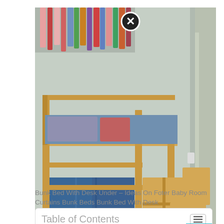[Figure (photo): A children's loft bunk bed made of natural pine wood with blue curtains underneath forming a play area. Wooden stair-step shelving unit on the right side. A round decorative rug on the hardwood floor. Colorful fabric wall decoration at top. Black shelving unit visible on the left. Books stored in the stair shelf cubbies.]
Bunk Bed With Desk Under – Ideas On Foter Baby Room Curtains Bunk Beds Bunk Bed With Desk
Table of Contents
1. In this list of ikea kura hacks you will find castles, houses, beach shacks and more.